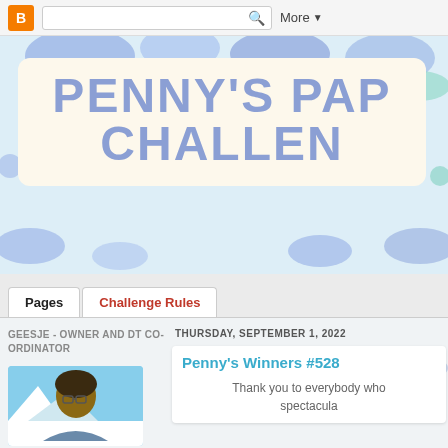Blogger navigation bar with search and More button
[Figure (screenshot): Blog header background with colorful blob shapes in blue, teal, and light blue]
PENNY'S PAP CHALLEN
Pages   Challenge Rules
GEESJE - OWNER AND DT CO-ORDINATOR
[Figure (photo): Portrait photo of a person with glasses and dark hair outdoors]
THURSDAY, SEPTEMBER 1, 2022
Penny's Winners #528
Thank you to everybody who spectacula